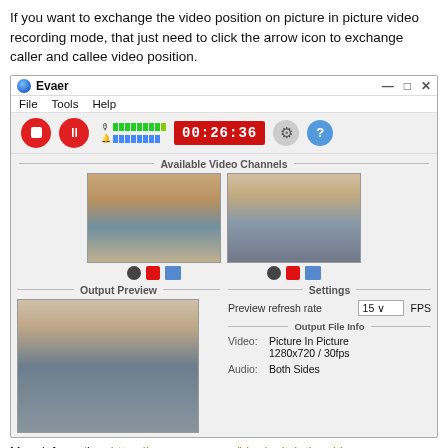If you want to exchange the video position on picture in picture video recording mode, that just need to click the arrow icon to exchange caller and callee video position.
[Figure (screenshot): Screenshot of Evaer application window showing picture-in-picture video recording mode with two video channels (caller and callee), output preview, settings panel with preview refresh rate of 15 FPS, and output file info showing Picture In Picture 1280x720/30fps, Audio: Both Sides. Timer shows 00:26:36.]
More information: https://www.evaer.com/blog/switch-the-video-dynamically-when-recording-skype-video-calls/